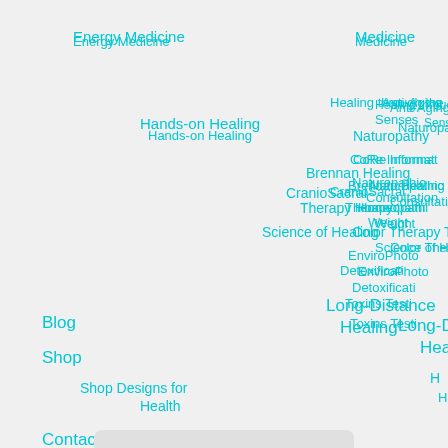Energy Medicine
Medicine
Hands-on Healing
Healing through the Senses
Anti-Aging
Naturopathy
CoRe Information
Brennan Healing
Naturopathic Consultation
CranioSacral Therapy
Homeopathic Weight
Science of Healing
Color Therapy
Enviro Photo
Detoxification
Long-Distance Healing
Toxins Testing
H
Blog
Shop
Shop Designs for Health
Contact